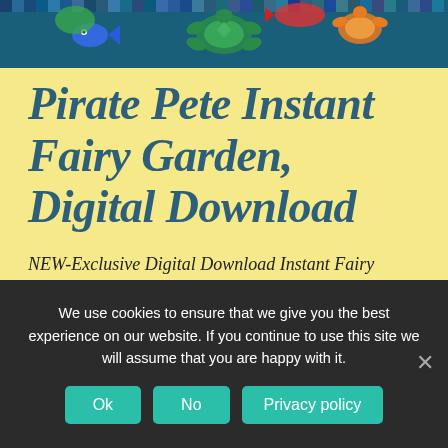[Figure (illustration): Colorful mosaic-style illustration at the top showing sea turtles, fish, and underwater creatures in bright colors on a dark background.]
Pirate Pete Instant Fairy Garden, Digital Download
NEW-Exclusive Digital Download Instant Fairy Garden! What a great project for the family, birthday party, DIY and end up with a beautiful Pirate Pete's fairy garden!
We use cookies to ensure that we give you the best experience on our website. If you continue to use this site we will assume that you are happy with it.